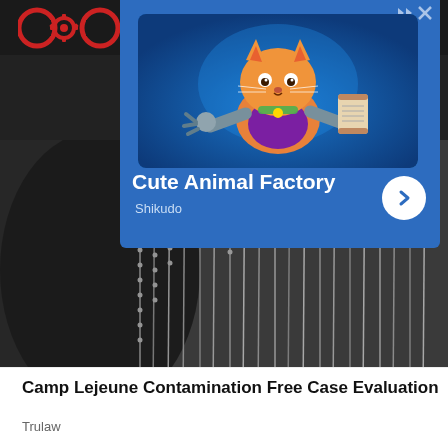Cracked (website logo/header bar)
[Figure (photo): A screenshot of a webpage (Cracked.com) showing a dark background with military dog tags hanging in black-and-white in the lower portion, partially obscured by an advertisement overlay.]
[Figure (screenshot): Advertisement overlay for 'Cute Animal Factory' by Shikudo — a mobile game ad featuring a cartoon orange cat character holding robotic arms on a blue background, with a right-arrow button and close controls.]
Camp Lejeune Contamination Free Case Evaluation
Trulaw